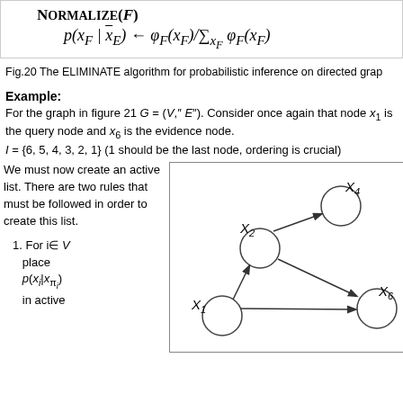Fig.20 The ELIMINATE algorithm for probabilistic inference on directed grap...
Example:
For the graph in figure 21 G = (V," E"). Consider once again that node x₁ is the query node and x₆ is the evidence node. I = {6, 5, 4, 3, 2, 1} (1 should be the last node, ordering is crucial)
We must now create an active list. There are two rules that must be followed in order to create this list.
[Figure (other): Directed graph with nodes X1, X2, X4, X6 connected with arrows. X1 points to X2, X2 points to X4, X1 points to X6, X2 points to X6.]
1. For i∈ V place p(xᵢ|xπᵢ) in active